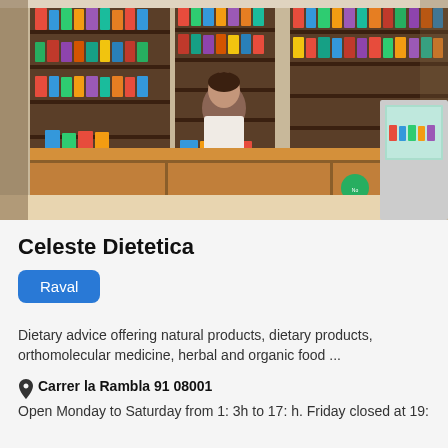[Figure (photo): Interior of a health food / dietary store showing shelves stocked with various natural products, supplements, and organic foods. A woman stands behind a wooden counter with books and products displayed.]
Celeste Dietetica
Raval
Dietary advice offering natural products, dietary products, orthomolecular medicine, herbal and organic food ...
Carrer la Rambla 91 08001
Open Monday to Saturday from 1: 3h to 17: h. Friday closed at 19: